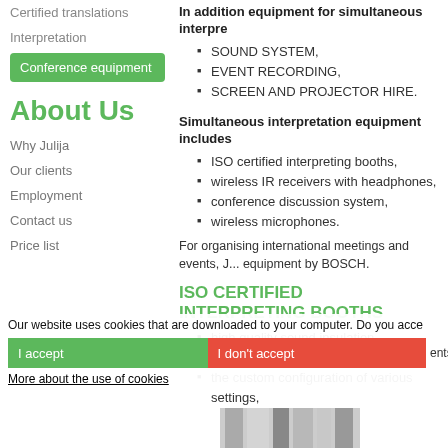Certified translations
Interpretation
Conference equipment
About Us
Why Julija
Our clients
Employment
Contact us
Price list
In addition equipment for simultaneous interpre...
SOUND SYSTEM,
EVENT RECORDING,
SCREEN AND PROJECTOR HIRE.
Simultaneous interpretation equipment includes...
ISO certified interpreting booths,
wireless IR receivers with headphones,
conference discussion system,
wireless microphones.
For organising international meetings and events, J... equipment by BOSCH.
ISO CERTIFIED INTERPRETING BOOTHS
high quality sound insulation,
the latest ventilation system,
the custom configuration of various settings,
Our website uses cookies that are downloaded to your computer. Do you acce...
I accept
I don't accept
...ents.
More about the use of cookies
[Figure (photo): Grayscale photo of interpreting booth equipment]